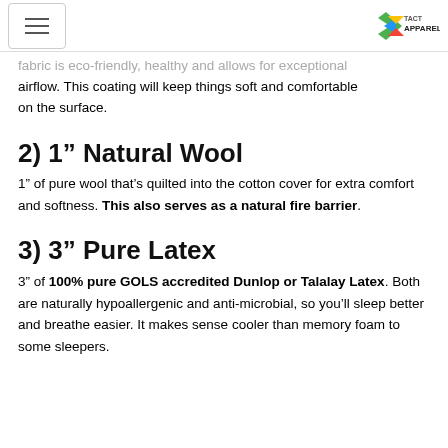[hamburger menu] [TACT APPAREL logo]
fabric is eco-friendly, healthy and allows for exceptional airflow. This coating will keep things soft and comfortable on the surface.
2) 1″ Natural Wool
1″ of pure wool that’s quilted into the cotton cover for extra comfort and softness. This also serves as a natural fire barrier.
3) 3″ Pure Latex
3″ of 100% pure GOLS accredited Dunlop or Talalay Latex. Both are naturally hypoallergenic and anti-microbial, so you’ll sleep better and breathe easier. It makes sense cooler than memory foam to some sleepers.